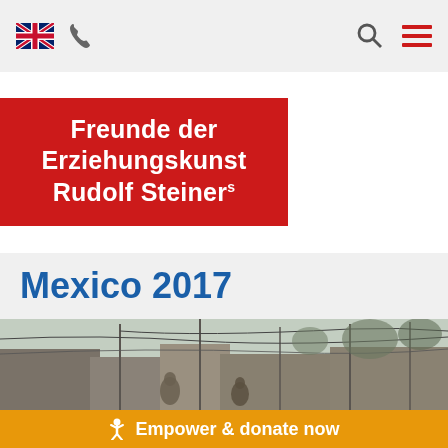[Navigation bar with UK flag, phone icon, search icon, hamburger menu]
[Figure (logo): Red rectangular logo block with white bold text: Freunde der Erziehungskunst Rudolf Steiners]
Mexico 2017
[Figure (photo): Outdoor photo showing damaged or makeshift structures with people, poles, and wires visible]
Empower & donate now